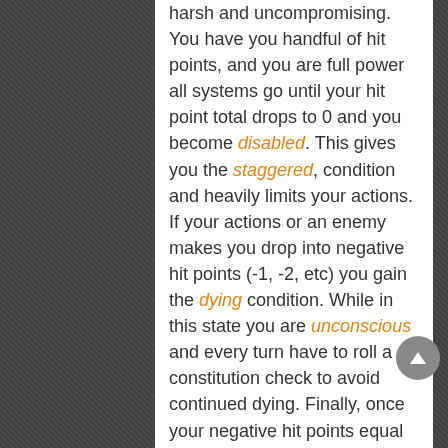harsh and uncompromising. You have you handful of hit points, and you are full power all systems go until your hit point total drops to 0 and you become disabled. This gives you the staggered, condition and heavily limits your actions. If your actions or an enemy makes you drop into negative hit points (-1, -2, etc) you gain the dying condition. While in this state you are unconscious and every turn have to roll a constitution check to avoid continued dying. Finally, once your negative hit points equal your constitution score you're dead. On paper it looks like a very generous system that gives you plenty of time to stop dying and hopefully have a friend bring you